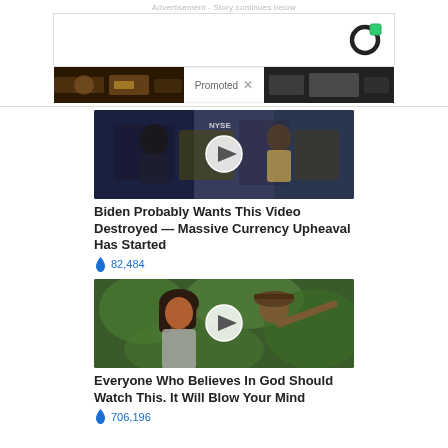Advertisement — Story continues below
[Figure (screenshot): Advertisement banner with a logo (dark circle with white C and green square), photos of casino/gaming imagery on left and right, and a 'Promoted X' badge in the center]
[Figure (photo): Video thumbnail showing two people at NYSE trading floor with a white play button circle overlay]
Biden Probably Wants This Video Destroyed — Massive Currency Upheaval Has Started
🔥 82,484
[Figure (photo): Video thumbnail showing a woman (Kamala Harris) and a man outdoors with a white play button circle overlay]
Everyone Who Believes In God Should Watch This. It Will Blow Your Mind
🔥 706,196